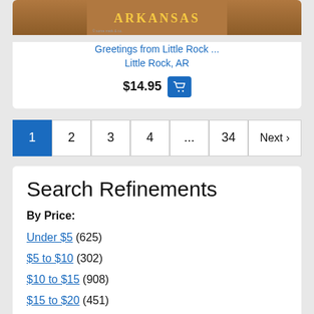[Figure (photo): Arkansas postcard image with brown/orange background]
Greetings from Little Rock ... Little Rock, AR
$14.95 [cart button]
Pagination: 1 (active), 2, 3, 4, ..., 34, Next >
Search Refinements
By Price:
Under $5 (625)
$5 to $10 (302)
$10 to $15 (908)
$15 to $20 (451)
$20 to $50 (3)